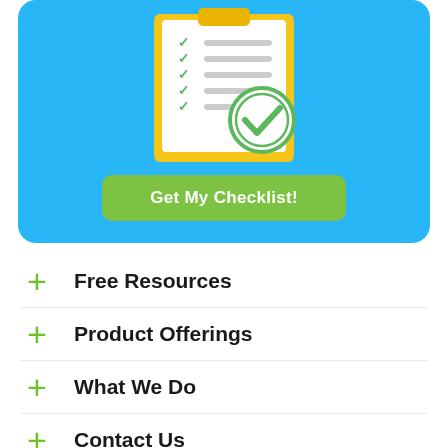[Figure (illustration): Blue rounded rectangle card with a checklist illustration showing a clipboard with green checkmarks and a green check circle badge, and a green 'Get My Checklist!' button below the illustration.]
Free Resources
Product Offerings
What We Do
Contact Us